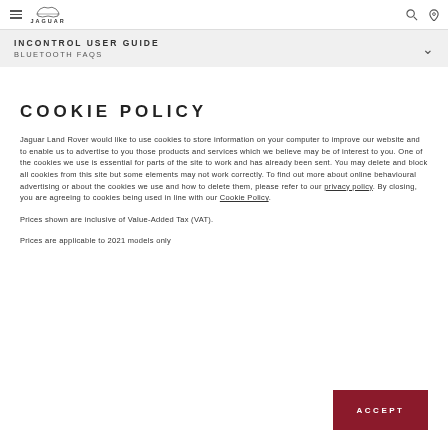JAGUAR — INCONTROL USER GUIDE / BLUETOOTH FAQS
COOKIE POLICY
Jaguar Land Rover would like to use cookies to store information on your computer to improve our website and to enable us to advertise to you those products and services which we believe may be of interest to you. One of the cookies we use is essential for parts of the site to work and has already been sent. You may delete and block all cookies from this site but some elements may not work correctly. To find out more about online behavioural advertising or about the cookies we use and how to delete them, please refer to our privacy policy. By closing, you are agreeing to cookies being used in line with our Cookie Policy.
Prices shown are inclusive of Value-Added Tax (VAT).
Prices are applicable to 2021 models only